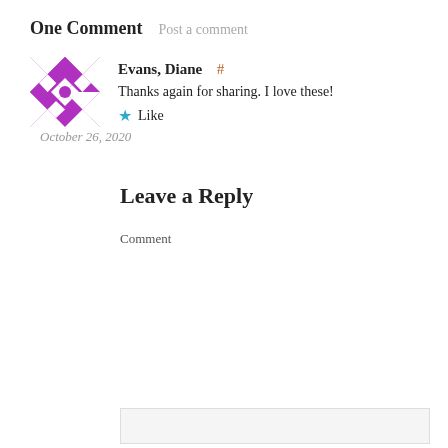One Comment  Post a comment
[Figure (illustration): Purple and white geometric quilted avatar image with diamond and cross patterns]
Evans, Diane  #
Thanks again for sharing. I love these!
★ Like
October 26, 2020
Leave a Reply
Comment